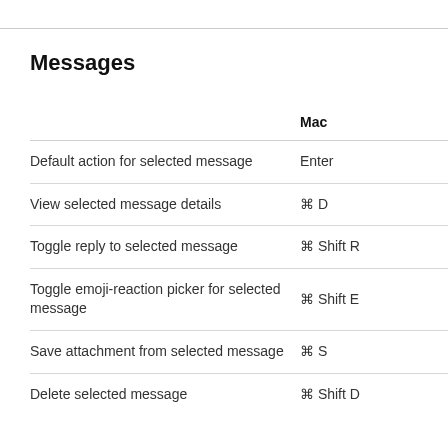Messages
|  | Mac |
| --- | --- |
| Default action for selected message | Enter |
| View selected message details | ⌘ D |
| Toggle reply to selected message | ⌘ Shift R |
| Toggle emoji-reaction picker for selected message | ⌘ Shift E |
| Save attachment from selected message | ⌘ S |
| Delete selected message | ⌘ Shift D |